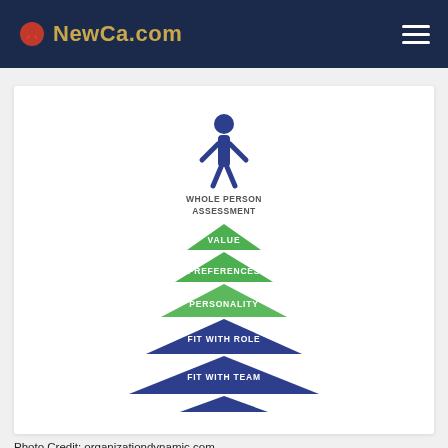NewCa.com
[Figure (infographic): Pyramid diagram showing Whole Person Assessment layers from top to bottom: VALUE (green), PREFERENCES (green), PERSONALITY (green), FIT WITH ROLE (blue), FIT WITH TEAM (blue), FIT WITH ORGANIZATIONAL CULTURE (blue). A blue human figure icon stands at the top of the pyramid with text 'WHOLE PERSON ASSESSMENT'.]
Photo Credit: organizationdynamic.com
JOBS Talogy presents new research and innovations as